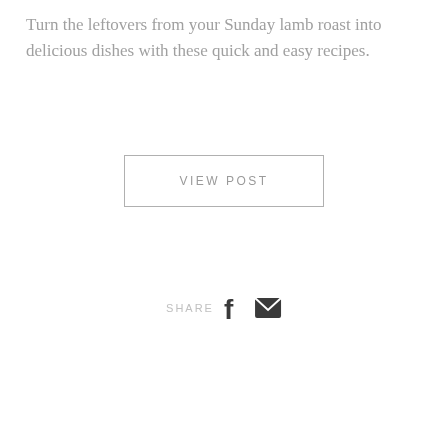Turn the leftovers from your Sunday lamb roast into delicious dishes with these quick and easy recipes.
VIEW POST
SHARE